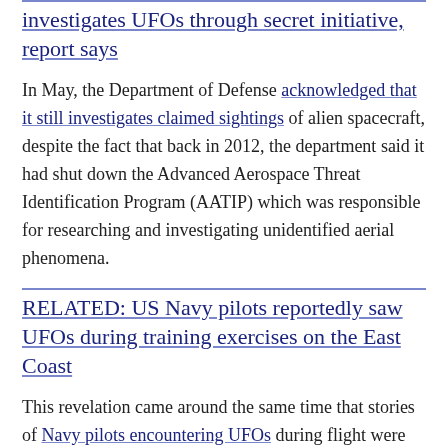investigates UFOs through secret initiative, report says
In May, the Department of Defense acknowledged that it still investigates claimed sightings of alien spacecraft, despite the fact that back in 2012, the department said it had shut down the Advanced Aerospace Threat Identification Program (AATIP) which was responsible for researching and investigating unidentified aerial phenomena.
RELATED: US Navy pilots reportedly saw UFOs during training exercises on the East Coast
This revelation came around the same time that stories of Navy pilots encountering UFOs during flight were surfacing, revealing that pilots had been dealing with near-daily, inexplicable encounters with objects